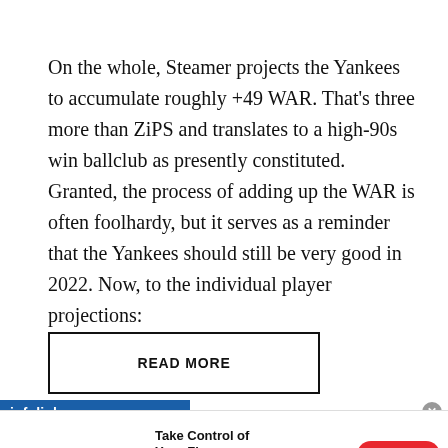On the whole, Steamer projects the Yankees to accumulate roughly +49 WAR. That's three more than ZiPS and translates to a high-90s win ballclub as presently constituted. Granted, the process of adding up the WAR is often foolhardy, but it serves as a reminder that the Yankees should still be very good in 2022. Now, to the individual player projections:
READ MORE
[Figure (infographic): Infolinks ad banner with Quicken advertisement: Take Control of Your Finances. Plan for today and tomorrow with one solution to manage all your finances. BUY NOW button. Shows woman working at laptop with pie chart graphic.]